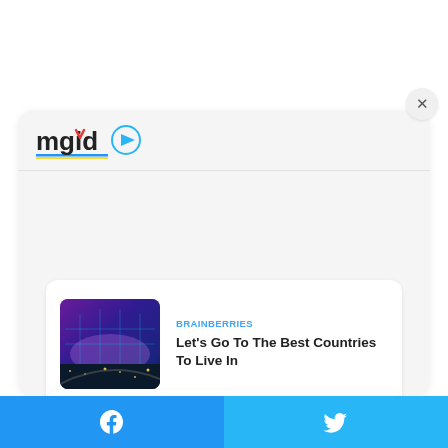[Figure (logo): MGID logo with play button icon]
[Figure (photo): Aerial night city view through airplane window with purple sky]
BRAINBERRIES
Let's Go To The Best Countries To Live In
[Figure (photo): Two young girls smiling, wearing floral tops, outdoors]
BRAINBERRIES
Hundreds Of Agencies Are Lined Up To Sign Them As Models
Facebook | Twitter social share buttons